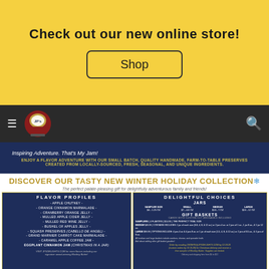Check out our new online store!
Shop
[Figure (logo): JP's Delights logo - jar icon on dark nav bar]
Inspiring Adventure. That's My Jam!
ENJOY A FLAVOR ADVENTURE WITH OUR SMALL BATCH, QUALITY HANDMADE, FARM-TO-TABLE PRESERVES CREATED FROM LOCALLY-SOURCED, FRESH, SEASONAL, AND UNIQUE INGREDIENTS.
DISCOVER OUR TASTY NEW WINTER HOLIDAY COLLECTION!
The perfect palate-pleasing gift for delightfully adventurous family and friends!
| FLAVOR PROFILES |
| --- |
| - APPLE CHUTNEY - |
| - ORANGE CINNAMON MARMALADE - |
| - CRANBERRY ORANGE JELLY - |
| - MULLED APPLE CIDER JELLY - |
| - MULLED RED WINE JELLY - |
| - BUSHEL OF APPLES JELLY - |
| - SQUASH PRESERVES (CABELLO DE ANGEL) - |
| - GRAND MARNIER CARROT CAKE MARMALADE - |
| - CARAMEL APPLE COFFEE JAM - |
| EGGPLANT CINNAMON JAM (CHRISTMAS IN A JAR) |
| VISIT JPSDELIGHTS.COM for more flavors including our signature award-winning Monkey Butter! |
| DELIGHTFUL CHOICES |
| --- |
| JARS |
| SAMPLER SIZE | SMALL | MEDIUM | LARGE |
| $4 - 1.25 oz | $7 - 4.0 oz | $13 - 7 oz | $24 - 12 oz |
| GIFT BASKETS |
| CARDS WITH CUSTOM CUT MESSAGES INCLUDED |
| SAMPLERS | 4 FLAVORS | $14.95 | THE PERFECT TRIAL SIZE |
| MEDIUM $49.99 | CONTAINS INCLUDES: 1 jar of each size (3.8, 4, 8, & 12 oz) or 2 jars 4 oz. or 2 jars of 1 oz., 1 jar 8 oz., & 1 jar 12 oz. |
| LARGE $99.99 | OPTIONS INCLUDE: 4 jars 4 oz & 4 jars 8 oz. or 1 jar of each size (1.5, 4, 8, & 12 oz.) or 2 jars of 3.5 oz., & 5 jars of 8 oz. |
| All medium and large baskets include crackers, cheese, and spreader knife. Ask about adding other gift basket goodies! |
| Order by emailing ORDERS@JPSDELIGHTS.COM by 12.18.20 (custom orders by 12.15.20) for Christmas delivery and receive a free sampler of Monkey Butter. Supplies are limited. |
| Delivery and shipping fees from $5 to $22 |
JP'S DELIGHTS | ORDERS@JPSDELIGHTS.COM Order by December 18th and receive a free sampler of Monkey Butter!